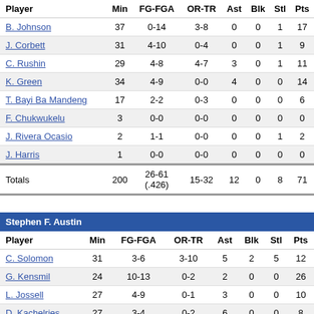| Player | Min | FG-FGA | OR-TR | Ast | Blk | Stl | Pts |
| --- | --- | --- | --- | --- | --- | --- | --- |
| B. Johnson | 37 | 0-14 | 3-8 | 0 | 0 | 1 | 17 |
| J. Corbett | 31 | 4-10 | 0-4 | 0 | 0 | 1 | 9 |
| C. Rushin | 29 | 4-8 | 4-7 | 3 | 0 | 1 | 11 |
| K. Green | 34 | 4-9 | 0-0 | 4 | 0 | 0 | 14 |
| T. Bayi Ba Mandeng | 17 | 2-2 | 0-3 | 0 | 0 | 0 | 6 |
| F. Chukwukelu | 3 | 0-0 | 0-0 | 0 | 0 | 0 | 0 |
| J. Rivera Ocasio | 2 | 1-1 | 0-0 | 0 | 0 | 1 | 2 |
| J. Harris | 1 | 0-0 | 0-0 | 0 | 0 | 0 | 0 |
| Totals | 200 | 26-61 (.426) | 15-32 | 12 | 0 | 8 | 71 |
Stephen F. Austin
| Player | Min | FG-FGA | OR-TR | Ast | Blk | Stl | Pts |
| --- | --- | --- | --- | --- | --- | --- | --- |
| C. Solomon | 31 | 3-6 | 3-10 | 5 | 2 | 5 | 12 |
| G. Kensmil | 24 | 10-13 | 0-2 | 2 | 0 | 0 | 26 |
| L. Jossell | 27 | 4-9 | 0-1 | 3 | 0 | 0 | 10 |
| D. Kachelries | 27 | 3-4 | 0-2 | 6 | 0 | 0 | 8 |
| D. Tezeno | 10 | 1-2 | 0-1 | 0 | 0 | 0 | 2 |